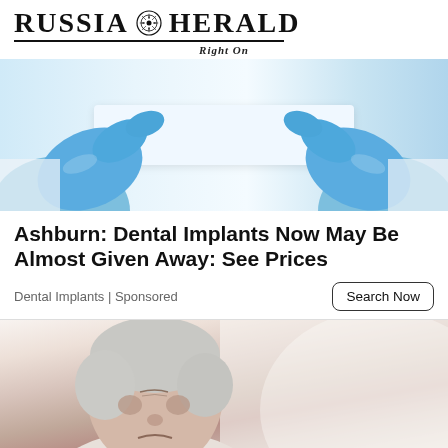RUSSIA HERALD — Right On
[Figure (photo): Close-up of hands wearing blue medical/latex gloves holding a white dental tray or implant model against a bright background.]
Ashburn: Dental Implants Now May Be Almost Given Away: See Prices
Dental Implants | Sponsored
[Figure (photo): Elderly man with gray hair grimacing or wincing, holding his chest, suggesting heart pain or discomfort, against a light blurred background.]